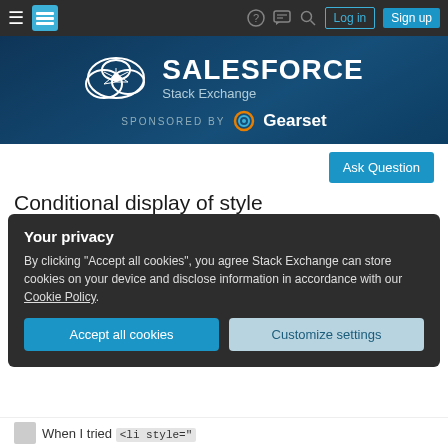Stack Exchange navigation bar with hamburger menu, logo, help, chat, search, Log in, Sign up
[Figure (screenshot): Salesforce Stack Exchange site header banner with logo, site title SALESFORCE Stack Exchange, and SPONSORED BY Gearset]
Ask Question
Conditional display of style
Asked 2 years ago   Modified 2 years ago   Viewed 341 times
Your privacy
By clicking "Accept all cookies", you agree Stack Exchange can store cookies on your device and disclose information in accordance with our Cookie Policy.
Accept all cookies   Customize settings
When I tried <li style="